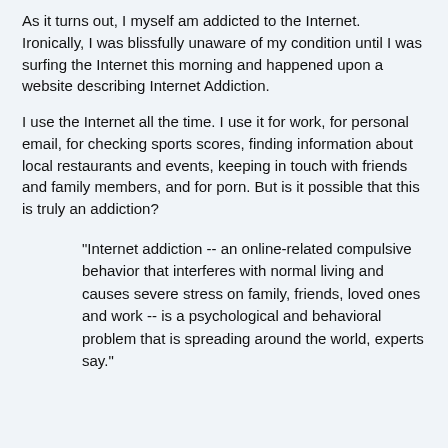As it turns out, I myself am addicted to the Internet. Ironically, I was blissfully unaware of my condition until I was surfing the Internet this morning and happened upon a website describing Internet Addiction.
I use the Internet all the time. I use it for work, for personal email, for checking sports scores, finding information about local restaurants and events, keeping in touch with friends and family members, and for porn. But is it possible that this is truly an addiction?
"Internet addiction -- an online-related compulsive behavior that interferes with normal living and causes severe stress on family, friends, loved ones and work -- is a psychological and behavioral problem that is spreading around the world, experts say."